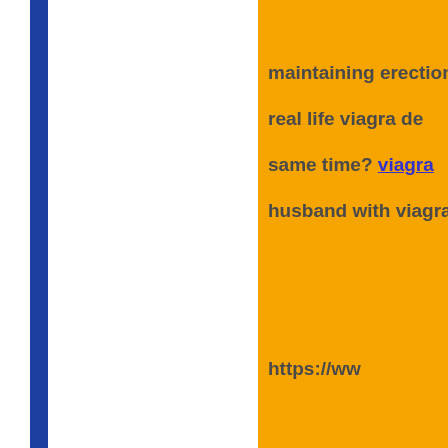maintaining erection w real life viagra de same time? viagra husband with viagra
https://ww
http://thedailystatesm
name=eagwiLonge&comment=does+most+insuran a++viagra+and+alcohol+%0D%0A+%0D%0Acost+of+gene <%2Fa>++viagra+cost+per+pill++pfizer+viagra+%0D
1949%0D%0Ahttps%3A%2F%2Fw
38124%0